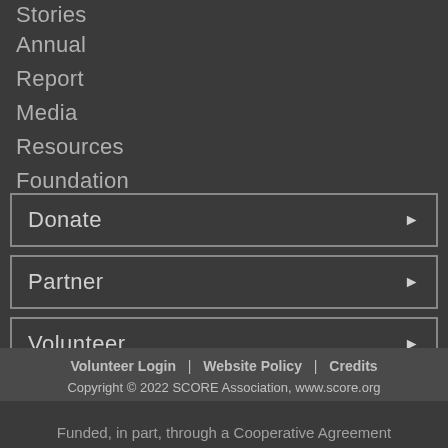Stories
Annual
Report
Media
Resources
Foundation
Donate
Partner
Volunteer
Volunteer Login | Website Policy | Credits
Copyright © 2022 SCORE Association, www.score.org
Funded, in part, through a Cooperative Agreement